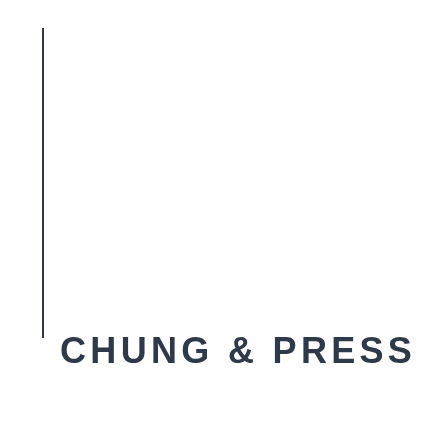[Figure (other): Vertical dark line decorative element on the left side of the page]
CHUNG & PRESS